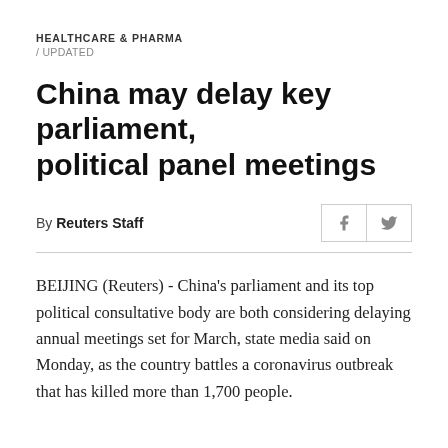HEALTHCARE & PHARMA
/ UPDATED
China may delay key parliament, political panel meetings
By Reuters Staff
BEIJING (Reuters) - China's parliament and its top political consultative body are both considering delaying annual meetings set for March, state media said on Monday, as the country battles a coronavirus outbreak that has killed more than 1,700 people.